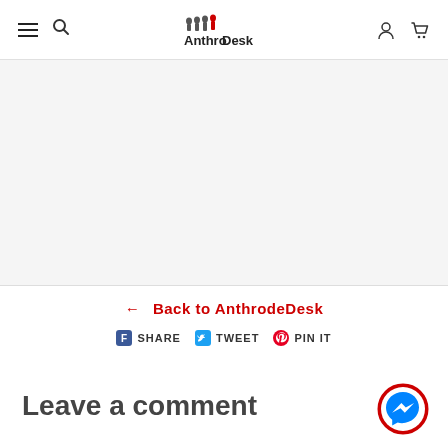AnthrodeDesk navigation header with hamburger menu, search, logo, user and cart icons
← Back to AnthrodeDesk
SHARE  TWEET  PIN IT
Leave a comment